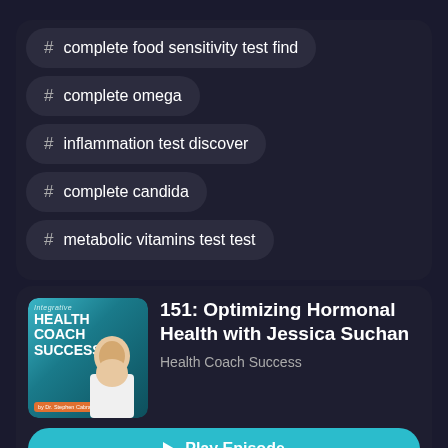# complete food sensitivity test find
# complete omega
# inflammation test discover
# complete candida
# metabolic vitamins test test
151: Optimizing Hormonal Health with Jessica Suchan
Health Coach Success
Play Episode